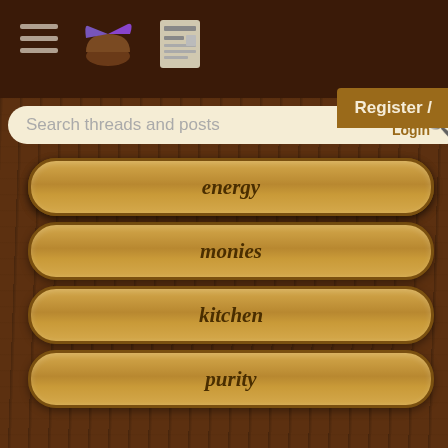Permaculture forum header with hamburger menu, pie icon, and news icon
energy
monies
kitchen
purity
ungarbage
community
wilderness
Search threads and posts
Register / Login
Keeping Bees in Log — 13 replies
Archival Film: Rise of — 0 replies
Permie themed Scie — 97 replies [→ 1,2,3]
Kirsten Dirksen - You